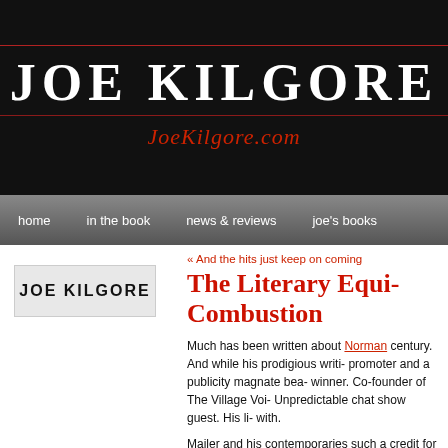JOE KILGORE
JoeKilgore.com
home   in the book   news & reviews   joe's books
[Figure (logo): Joe Kilgore logo — dark background with 'JOE KILGORE' text in white]
« And the hits just keep on coming
The Literary Equi- Combustion
Much has been written about Norman Mailer as the most celebrated American writer of the last century. And while his prodigious writing output was considerable, his reputation as a self-promoter and a publicity magnate bear scrutiny as well. Two-time Pulitzer Prize winner. Co-founder of The Village Voice. Mayor of New York candidate. Unpredictable chat show guest. His life was as interesting as the fiction he came up with.
Mailer and his contemporaries such as credit for innovating what came to be Mailer's works like The Executioner's